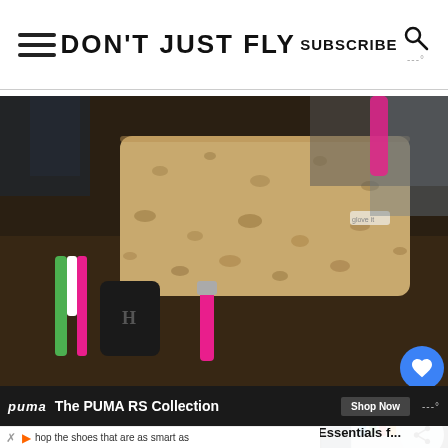DON'T JUST FLY | SUBSCRIBE
[Figure (photo): A cork-textured wristlet wallet with a pink wrist strap, alongside car keys with a Honda fob and a colorful lanyard, on a dark background. Text overlay reads 'Peanut Blossom']
[Figure (photo): Three thumbnail images: colorful pencils and books, a grey and white patterned bag with 'gadgets' text in green, and a cup with colored pens/markers]
WHAT'S NEXT → 5 Road Trip Essentials f...
[Figure (advertisement): PUMA advertisement bar: 'The PUMA RS Collection' with Shop Now button]
hop the shoes that are as smart as